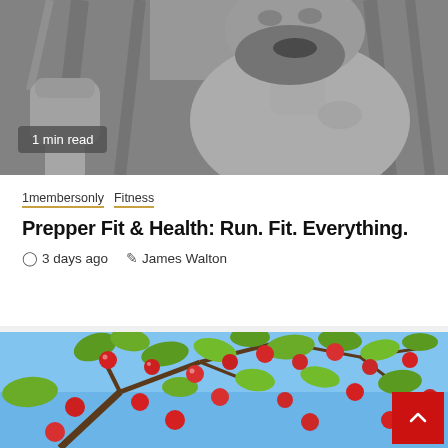[Figure (photo): Black and white photo of a bearded shirtless man raising his fist in an outdoor forest setting]
1 min read
1membersonly  Fitness
Prepper Fit & Health: Run. Fit. Everything.
3 days ago   James Walton
[Figure (photo): Color photo of an apple tree branch with many red apples against a blue sky]